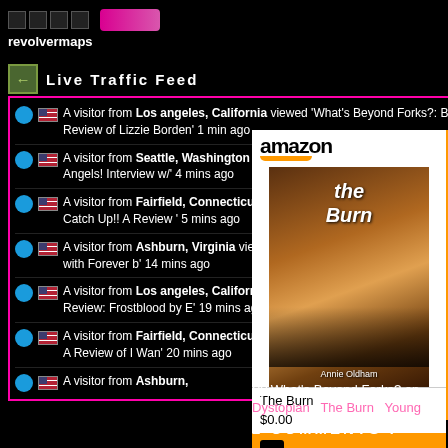[Figure (screenshot): Widget control bar with minimize/play/down/move buttons]
revolvermaps
Live Traffic Feed
A visitor from Los angeles, California viewed 'What's Beyond Forks?: Book Review of Lizzie Borden' 1 min ago
A visitor from Seattle, Washington viewed 'What's Beyond Forks?: Omnific Angels! Interview w/' 4 mins ago
A visitor from Fairfield, Connecticut viewed 'What's Beyond Forks?: Playing Catch Up!! A Review ' 5 mins ago
A visitor from Ashburn, Virginia viewed 'What's Beyond Forks?: : The Problem with Forever b' 14 mins ago
A visitor from Los angeles, California viewed 'What's Beyond Forks?: Book Review: Frostblood by E' 19 mins ago
A visitor from Fairfield, Connecticut viewed 'What's Beyond Forks?: Blog Tour! A Review of I Wan' 20 mins ago
A visitor from Ashburn,
[Figure (screenshot): Amazon widget showing book 'The Burn' by Annie Oldham with price $0.00 and Shop now button]
The Burn
$0.00
Shop now
By What's Beyond Forks? on
Dystopian , The Burn , Young
2 COMMENTS :